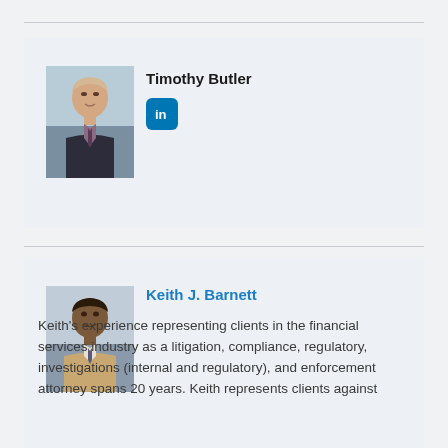[Figure (photo): Professional headshot of Timothy Butler, a man in a dark suit with tie, light background]
Timothy Butler
[Figure (logo): LinkedIn icon - blue rounded square with 'in' logo]
[Figure (photo): Professional headshot of Keith J. Barnett, a man in a tan/beige suit, light background]
Keith J. Barnett
Keith's experience representing clients in the financial services industry as a litigation, compliance, regulatory, investigations (internal and regulatory), and enforcement attorney spans 20 years. Keith represents clients against